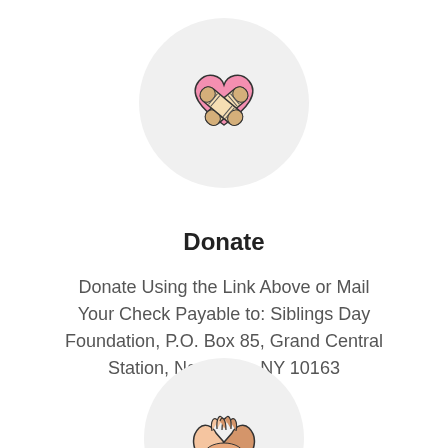[Figure (illustration): Circular gray icon showing two bandages crossed over a pink heart, representing donation/care]
Donate
Donate Using the Link Above or Mail Your Check Payable to: Siblings Day Foundation, P.O. Box 85, Grand Central Station, New York, NY 10163
[Figure (illustration): Circular gray icon showing two hands clasped together in a handshake or solidarity gesture]